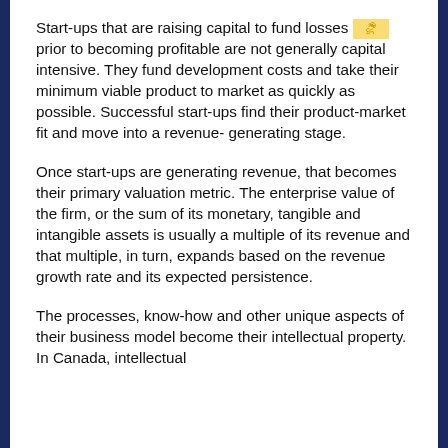Start-ups that are raising capital to fund losses prior to becoming profitable are not generally capital intensive. They fund development costs and take their minimum viable product to market as quickly as possible. Successful start-ups find their product-market fit and move into a revenue-generating stage.
Once start-ups are generating revenue, that becomes their primary valuation metric. The enterprise value of the firm, or the sum of its monetary, tangible and intangible assets is usually a multiple of its revenue and that multiple, in turn, expands based on the revenue growth rate and its expected persistence.
The processes, know-how and other unique aspects of their business model become their intellectual property. In Canada, intellectual